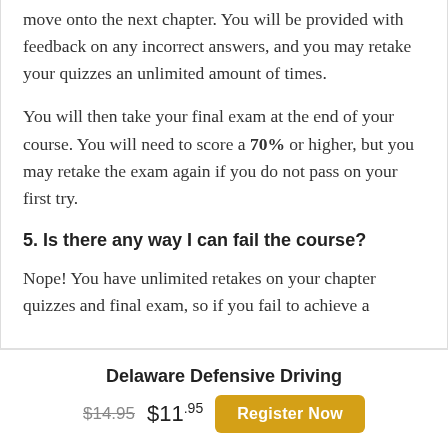per quiz, and you must score a 70% or higher to move onto the next chapter. You will be provided with feedback on any incorrect answers, and you may retake your quizzes an unlimited amount of times.
You will then take your final exam at the end of your course. You will need to score a 70% or higher, but you may retake the exam again if you do not pass on your first try.
5. Is there any way I can fail the course?
Nope! You have unlimited retakes on your chapter quizzes and final exam, so if you fail to achieve a
Delaware Defensive Driving
$14.95  $11.95  Register Now